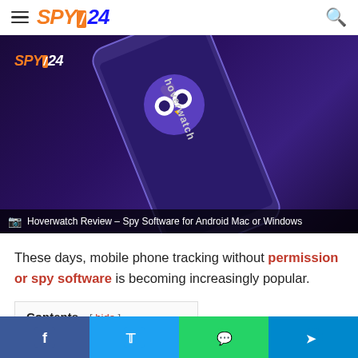SPY24 navigation header with hamburger menu and search icon
[Figure (screenshot): Hero image showing a smartphone with Hoverwatch app branding on a dark purple background, with SPY24 watermark logo in the top-left corner. The phone displays the Hoverwatch owl logo and text.]
Hoverwatch Review – Spy Software for Android Mac or Windows
These days, mobile phone tracking without permission or spy software is becoming increasingly popular.
Contents [ hide ]
Social share bar: Facebook, Twitter, WhatsApp, Telegram